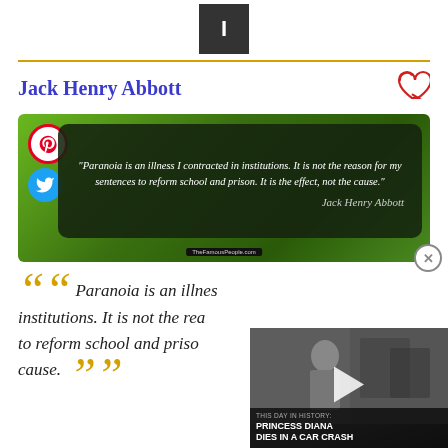[Figure (other): Dark square icon button with letter I]
Jack Henry Abbott
[Figure (photo): Quote image card on green background: 'Paranoia is an illness I contracted in institutions. It is not the reason for my sentences to reform school and prison. It is the effect, not the cause.' attributed to Jack Henry Abbott, from TheFamousPeople.com. Includes Pinterest and Twitter share buttons.]
Paranoia is an illness I contracted in institutions. It is not the reason to reform school and prison. [quote displayed large with decorative quotation marks]
[Figure (screenshot): Video overlay thumbnail showing Princess Diana with play button and caption 'THIS DAY IN HISTORY: PRINCESS DIANA DIES IN A CAR CRASH']